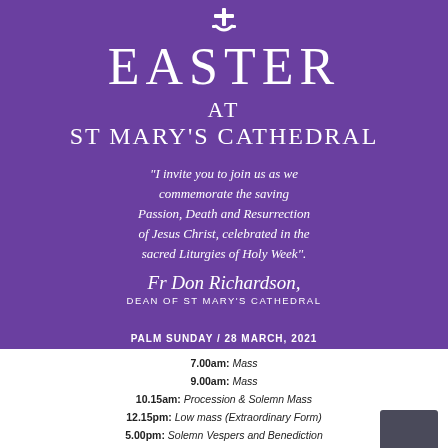[Figure (illustration): White cross/anchor icon on purple background]
EASTER AT ST MARY'S CATHEDRAL
“I invite you to join us as we commemorate the saving Passion, Death and Resurrection of Jesus Christ, celebrated in the sacred Liturgies of Holy Week”.
Fr Don Richardson, DEAN OF ST MARY'S CATHEDRAL
PALM SUNDAY / 28 MARCH, 2021
7.00am: Mass
9.00am: Mass
10.15am: Procession & Solemn Mass
12.15pm: Low mass (Extraordinary Form)
5.00pm: Solemn Vespers and Benediction
6.00pm: Mass
MAUNDY THURSDAY / 1 APRIL, 2021